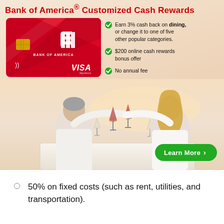Bank of America® Customized Cash Rewards
[Figure (illustration): Bank of America Customized Cash Rewards Visa Signature credit card (red card with BofA logo and chip), next to bullet points listing card benefits, and a background photo of a couple toasting wine glasses at a dining table outdoors. A green 'Learn More >' button appears bottom right.]
50% on fixed costs (such as rent, utilities, and transportation).